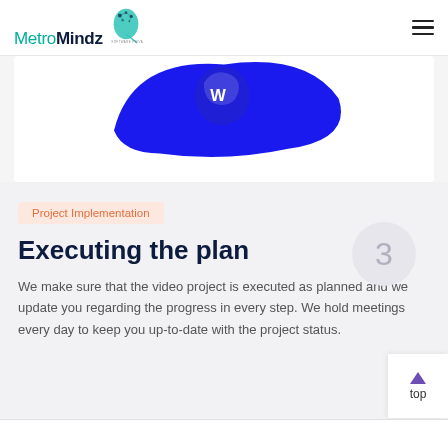MetroMindz SOFTWARE PRIVATE LIMITED
[Figure (photo): Partial view of a blue fluid/paint splash or blob on a white background within a card]
Project Implementation
Executing the plan
We make sure that the video project is executed as planned and we update you regarding the progress in every step. We hold meetings every day to keep you up-to-date with the project status.